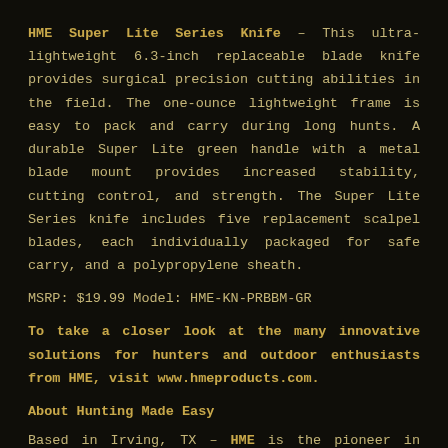HME Super Lite Series Knife – This ultra-lightweight 6.3-inch replaceable blade knife provides surgical precision cutting abilities in the field. The one-ounce lightweight frame is easy to pack and carry during long hunts. A durable Super Lite green handle with a metal blade mount provides increased stability, cutting control, and strength. The Super Lite Series knife includes five replacement scalpel blades, each individually packaged for safe carry, and a polypropylene sheath.
MSRP: $19.99 Model: HME-KN-PRBBM-GR
To take a closer look at the many innovative solutions for hunters and outdoor enthusiasts from HME, visit www.hmeproducts.com.
About Hunting Made Easy
Based in Irving, TX – HME is the pioneer in hunting